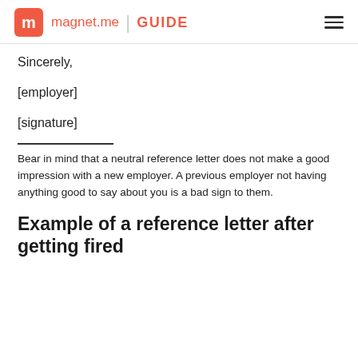magnet.me GUIDE
Sincerely,
[employer]
[signature]
Bear in mind that a neutral reference letter does not make a good impression with a new employer. A previous employer not having anything good to say about you is a bad sign to them.
Example of a reference letter after getting fired